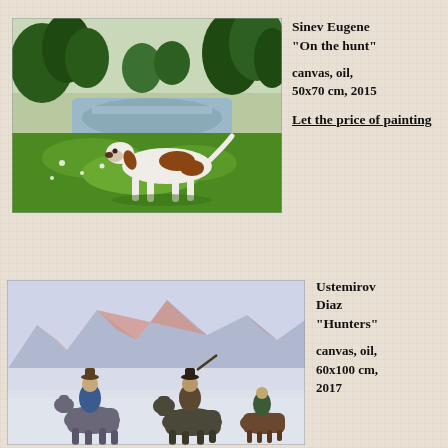[Figure (photo): Oil painting 'On the hunt' by Sinev Eugene showing a hunting dog (pointer) in a green meadow landscape with a river and trees in the background]
Sinev Eugene
"On the hunt"
canvas, oil, 50x70 cm, 2015
Let the price of painting
[Figure (photo): Oil painting 'Hunters' by Ustemirov Diaz showing three horsemen riding across a snowy plain with mountains at sunset in the background]
Ustemirov Diaz
"Hunters"
canvas, oil, 60x100 cm, 2017